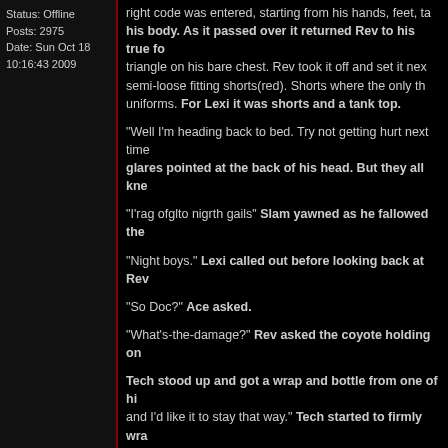Status: Offline
Posts: 2975
Date: Sun Oct 18
10:16:43 2009
right code was entered, starting from his hands, feet, ta... his body. As it passed over it returned Rev to his true fo... triangle on his bare chest. Rev took it off and set it nex... semi-loose fitting shorts(red). Shorts where the only th... uniforms. For Lexi it was shorts and a tank top.
“Well I’m heading back to bed. Try not getting hurt next time... glares pointed at the back of his head. But they all kne…
“I’rag ofglto nigrth gails” Slam yawned as he fallowed the…
“Night boys.” Lexi called out before looking back at Re…
“So Doc?” Ace asked.
“What’s-the-damage?” Rev asked the coyote holding on…
Tech stood up and got a wrap and bottle from one of hi… and I’d like it to stay that way.” Tech started to firmly wra… want it to get worse. That means Rev No running.”
“All-right-Tech” Rev answered.
“I’ll give you some mild pain meds. I want you take them on… done and looked over at Lexi, “Lets take care of your arm…
“I told you, Tech, it’s nothing.” Tech looked at her and sig… held up the hand she had been holding her injured arm…
Lexi sighed and let her shoulders drop.
“’Nothing’ huh?” Tech asked, “Why do you haft to play the…
“When your raised with my brothers you haft to be.” Lexi w…